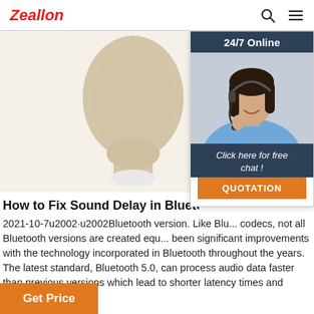Zeallon
[Figure (photo): Mannequin head wearing a small earphone/earbud, beige/tan color, shown from front on light background]
[Figure (infographic): 24/7 Online chat widget showing a customer service representative wearing a headset. Includes '24/7 Online' header, photo of smiling woman with headset, 'Click here for free chat!' text, and QUOTATION button.]
How to Fix Sound Delay in Bluetooth Headp...
2021-10-7u2002·u2002Bluetooth version. Like Bluetooth codecs, not all Bluetooth versions are created equ... been significant improvements with the technology incorporated in Bluetooth throughout the years. The latest standard, Bluetooth 5.0, can process audio data faster than previous versions which lead to shorter latency times and better sound ...
Get Price